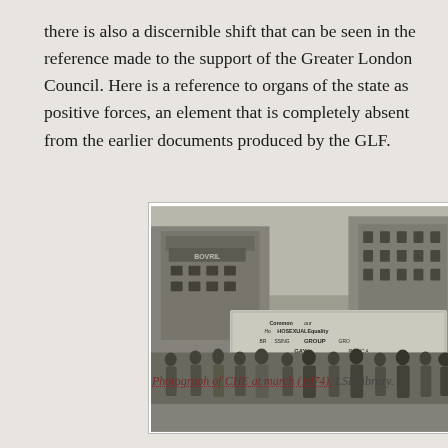there is also a discernible shift that can be seen in the reference made to the support of the Greater London Council. Here is a reference to organs of the state as positive forces, an element that is completely absent from the earlier documents produced by the GLF.
[Figure (photo): Black and white photograph of a street march. Protesters carry banners including ones reading 'Homosexuality Equality Group' and 'Gay'. Buildings visible in background including one with 'BOVRIL' signage. Photograph of CHE at march (1974).]
Photograph of CHE at march (1974). LSE library.